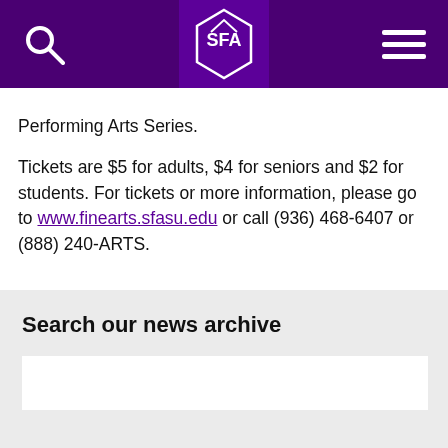SFA header navigation with search and menu
Performing Arts Series.
Tickets are $5 for adults, $4 for seniors and $2 for students. For tickets or more information, please go to www.finearts.sfasu.edu or call (936) 468-6407 or (888) 240-ARTS.
Search our news archive